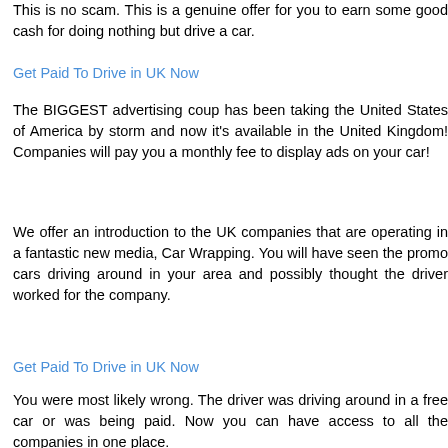This is no scam. This is a genuine offer for you to earn some good cash for doing nothing but drive a car.
Get Paid To Drive in UK Now
The BIGGEST advertising coup has been taking the United States of America by storm and now it's available in the United Kingdom! Companies will pay you a monthly fee to display ads on your car!
We offer an introduction to the UK companies that are operating in a fantastic new media, Car Wrapping. You will have seen the promo cars driving around in your area and possibly thought the driver worked for the company.
Get Paid To Drive in UK Now
You were most likely wrong. The driver was driving around in a free car or was being paid. Now you can have access to all the companies in one place.
Get Paid To Drive in UK Now
People all over the World are being paid to drive their cars